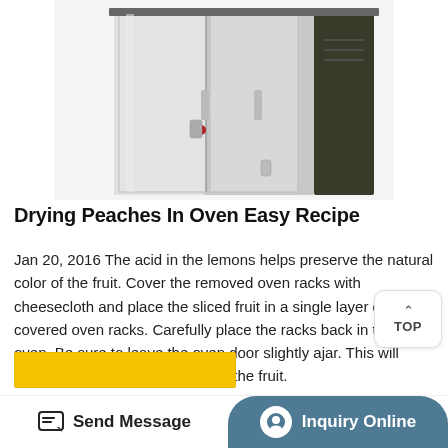[Figure (photo): Stainless steel commercial food dehydrator/oven with dark side panel, double doors with latches, and metallic finish]
Drying Peaches In Oven Easy Recipe
Jan 20, 2016 The acid in the lemons helps preserve the natural color of the fruit. Cover the removed oven racks with cheesecloth and place the sliced fruit in a single layer onto the covered oven racks. Carefully place the racks back in the oven. Be sure to leave the oven door slightly ajar. This will allow steam escape while drying the fruit.
[Figure (other): Yellow/gold button partially visible at bottom]
Send Message | Inquiry Online